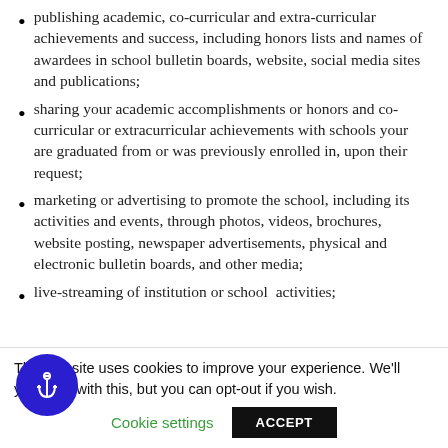publishing academic, co-curricular and extra-curricular achievements and success, including honors lists and names of awardees in school bulletin boards, website, social media sites and publications;
sharing your academic accomplishments or honors and co-curricular or extracurricular achievements with schools your are graduated from or was previously enrolled in, upon their request;
marketing or advertising to promote the school, including its activities and events, through photos, videos, brochures, website posting, newspaper advertisements, physical and electronic bulletin boards, and other media;
live-streaming of institution or school  activities;
This website uses cookies to improve your experience. We'll you're ok with this, but you can opt-out if you wish.
Cookie settings   ACCEPT